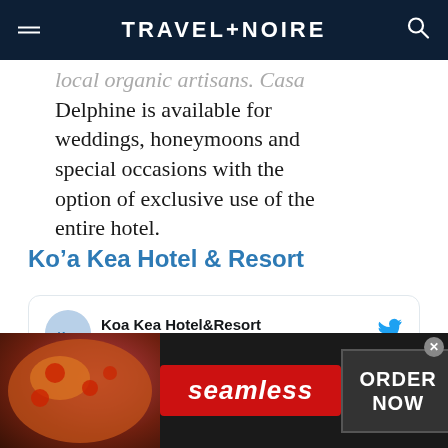TRAVEL+NOIRE
local organic artisans. Casa Delphine is available for weddings, honeymoons and special occasions with the option of exclusive use of the entire hotel.
Ko’a Kea Hotel & Resort
[Figure (screenshot): Embedded tweet from @KoaKeaResort account. Account name: Koa Kea Hotel&Resort, handle: @KoaKeaResort, with Follow link and Twitter bird icon. Tweet text begins: Mahalo @WS_1 🌸 We couldn’t agree]
[Figure (infographic): Seamless food delivery advertisement banner with pizza image, Seamless logo in red, and ORDER NOW button]